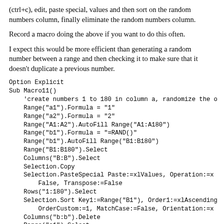(ctrl+c), edit, paste special, values and then sort on the random numbers column, finally eliminate the random numbers column.
Record a macro doing the above if you want to do this often.
I expect this would be more efficient than generating a random number between a range and then checking it to make sure that it doesn't duplicate a previous number.
Option Explicit
Sub Macro11()
    'create numbers 1 to 180 in column a, randomize the o
    Range("a1").Formula = "1"
    Range("a2").Formula = "2"
    Range("A1:A2").AutoFill Range("A1:A180")
    Range("b1").Formula = "=RAND()"
    Range("b1").AutoFill Range("B1:B180")
    Range("B1:B180").Select
    Columns("B:B").Select
    Selection.Copy
    Selection.PasteSpecial Paste:=xlValues, Operation:=x
        False, Transpose:=False
    Rows("1:180").Select
    Selection.Sort Key1:=Range("B1"), Order1:=xlAscending
        OrderCustom:=1, MatchCase:=False, Orientation:=x
    Columns("b:b").Delete
    Range("a1").Select
End Sub